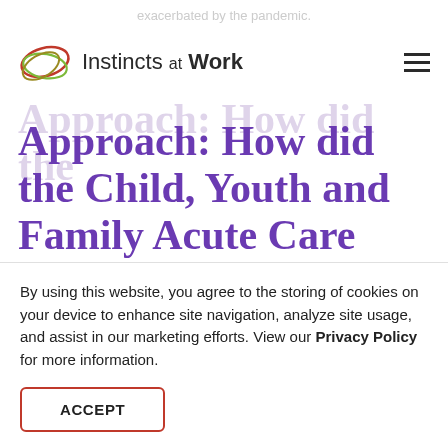exacerbated by the pandemic.
Instincts at Work
Approach: How did the Child, Youth and Family Acute Care division achieve such incredible gains in the face of
By using this website, you agree to the storing of cookies on your device to enhance site navigation, analyze site usage, and assist in our marketing efforts. View our Privacy Policy for more information.
ACCEPT